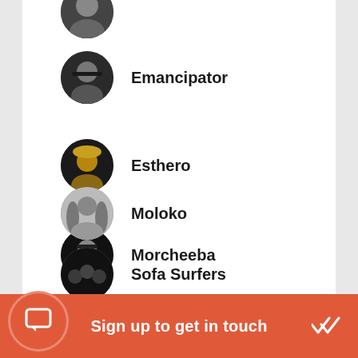[Figure (screenshot): Mobile app list of music artists with circular avatar photos and artist names. Shows: Emancipator, Esthero, Morcheeba, Moloko, Sofa Surfers, and a partially visible entry at bottom.]
Emancipator
Esthero
Morcheeba
Moloko
Sofa Surfers
Sign up to get in touch